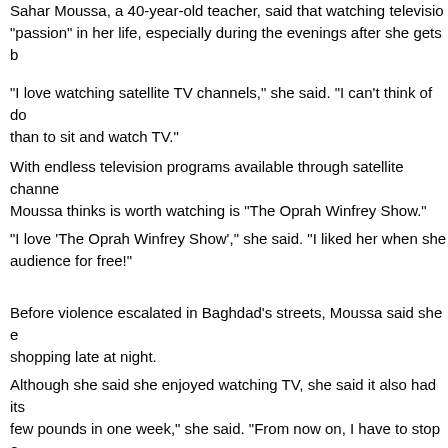Sahar Moussa, a 40-year-old teacher, said that watching television is a "passion" in her life, especially during the evenings after she gets b
"I love watching satellite TV channels," she said. "I can't think of do than to sit and watch TV."
With endless television programs available through satellite channe Moussa thinks is worth watching is "The Oprah Winfrey Show."
"I love 'The Oprah Winfrey Show',," she said. "I liked her when she audience for free!"
Before violence escalated in Baghdad's streets, Moussa said she shopping late at night.
Although she said she enjoyed watching TV, she said it also had its few pounds in one week," she said. "From now on, I have to stop e
[url]http://news.yahoo.com/s/nm/20060412/wl_nm/iraq_leisure_dc[
Potted Beef
Is it a man's world ?
This week on Thursday (yesterday) there was an interesting report (bbcworldservice) in which an AW lesbian journalist tells about her